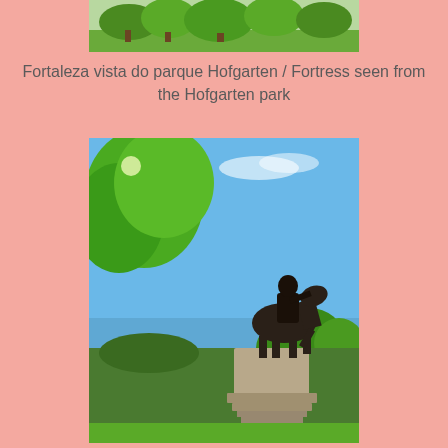[Figure (photo): Top strip of a park scene with green trees and grass, partial view of the Hofgarten park.]
Fortaleza vista do parque Hofgarten / Fortress seen from the Hofgarten park
[Figure (photo): Photograph taken from below showing a bronze equestrian statue on a stone pedestal against a bright blue sky with some clouds, with large green tree branches in the upper left corner and green trees in the background.]